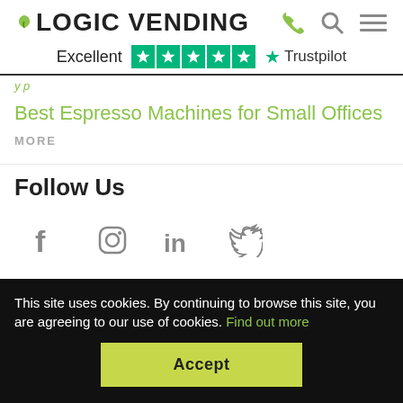LOGIC VENDING | Excellent ★★★★★ Trustpilot
Best Espresso Machines for Small Offices
MORE
Follow Us
[Figure (infographic): Social media icons: Facebook, Instagram, LinkedIn, Twitter]
This site uses cookies. By continuing to browse this site, you are agreeing to our use of cookies. Find out more
Accept